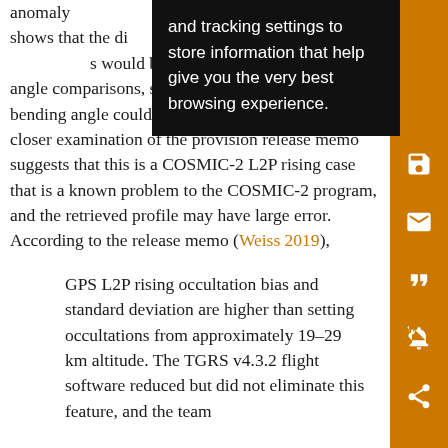anomaly ... temperature ... shows that the di... t this altitude a... s would be a good scenario for bending angle comparisons, so the large difference in bending angle could not be easily explained. A closer examination of the provision release memo suggests that this is a COSMIC-2 L2P rising case that is a known problem to the COSMIC-2 program, and the retrieved profile may have large error. According to the release memo (Weiss 2019),
GPS L2P rising occultation bias and standard deviation are higher than setting occultations from approximately 19–29 km altitude. The TGRS v4.3.2 flight software reduced but did not eliminate this feature, and the team
[Figure (screenshot): Black tooltip/popup overlay with white text reading: 'and tracking settings to store information that help give you the very best browsing experience.']